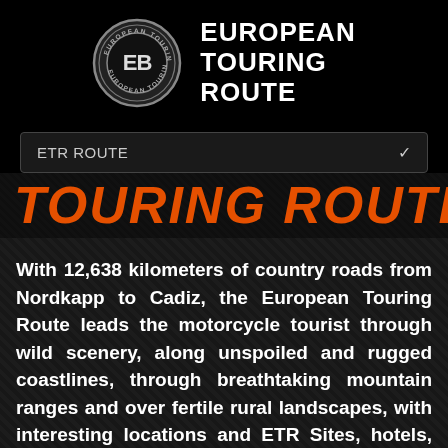[Figure (logo): European Touring Route circular logo with ETR initials and brand name text to the right]
EUROPEAN TOURING ROUTE
ETR ROUTE
Touring Route
With 12,638 kilometers of country roads from Nordkapp to Cadiz, the European Touring Route leads the motorcycle tourist through wild scenery, along unspoiled and rugged coastlines, through breathtaking mountain ranges and over fertile rural landscapes, with interesting locations and ETR Sites, hotels, attractions, and places to visit and buy local